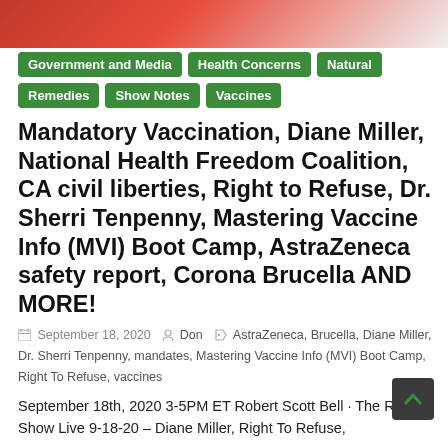[Figure (photo): Red and white flag/banner image at the top of the page]
Government and Media
Health Concerns
Natural Remedies
Show Notes
Vaccines
Mandatory Vaccination, Diane Miller, National Health Freedom Coalition, CA civil liberties, Right to Refuse, Dr. Sherri Tenpenny, Mastering Vaccine Info (MVI) Boot Camp, AstraZeneca safety report, Corona Brucella AND MORE!
September 18, 2020  Don  AstraZeneca, Brucella, Diane Miller, Dr. Sherri Tenpenny, mandates, Mastering Vaccine Info (MVI) Boot Camp, Right To Refuse, vaccines
September 18th, 2020 3-5PM ET Robert Scott Bell · The RSB Show Live 9-18-20 – Diane Miller, Right To Refuse,
Read more